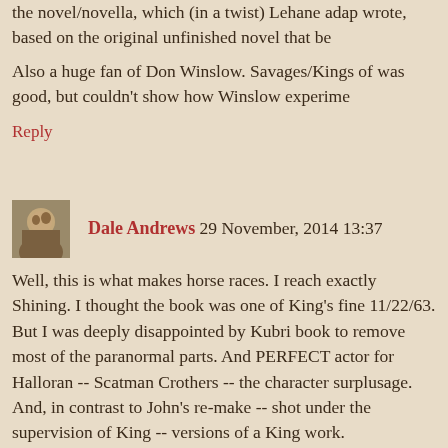the novel/novella, which (in a twist) Lehane adap wrote, based on the original unfinished novel that be
Also a huge fan of Don Winslow. Savages/Kings of was good, but couldn't show how Winslow experime
Reply
Dale Andrews 29 November, 2014 13:37
Well, this is what makes horse races. I reach exactly Shining. I thought the book was one of King's fine 11/22/63. But I was deeply disappointed by Kubri book to remove most of the paranormal parts. And PERFECT actor for Halloran -- Scatman Crothers -- the character surplusage. And, in contrast to John's re-make -- shot under the supervision of King -- versions of a King work.
Go figure!
Reply